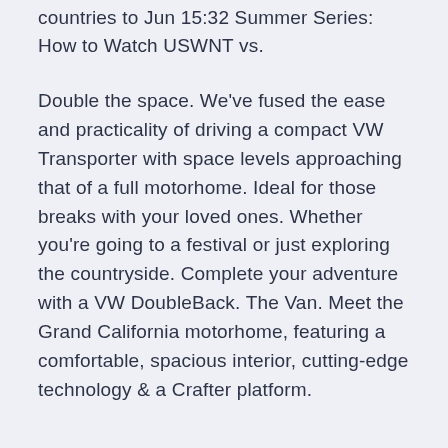countries to Jun 15:32 Summer Series: How to Watch USWNT vs.
Double the space. We've fused the ease and practicality of driving a compact VW Transporter with space levels approaching that of a full motorhome. Ideal for those breaks with your loved ones. Whether you're going to a festival or just exploring the countryside. Complete your adventure with a VW DoubleBack. The Van. Meet the Grand California motorhome, featuring a comfortable, spacious interior, cutting-edge technology & a Crafter platform.
Wales are having a unique Euro 2020 experience. Unlike England and Scotland. Wales have had a